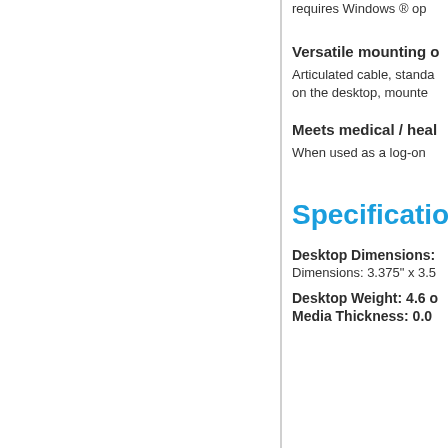requires Windows ® op
Versatile mounting o
Articulated cable, standa on the desktop, mounte
Meets medical / heal
When used as a log-on
Specification
Desktop Dimensions:
Dimensions: 3.375" x 3.5
Desktop Weight: 4.6 o
Media Thickness: 0.0